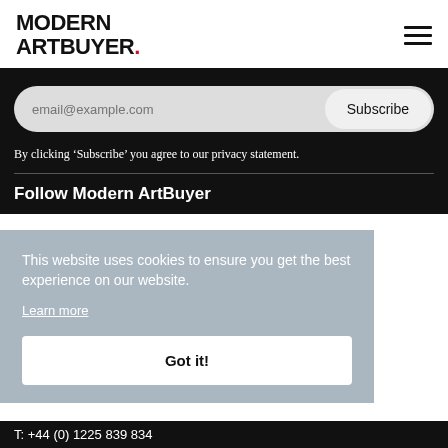MODERN ARTBUYER.
email@example.com
Subscribe
By clicking ‘Subscribe’ you agree to our privacy statement.
Follow Modern ArtBuyer
This website uses cookies to ensure you get the best experience on our website.
Learn more
Got it!
T: +44 (0) 1225 839 834